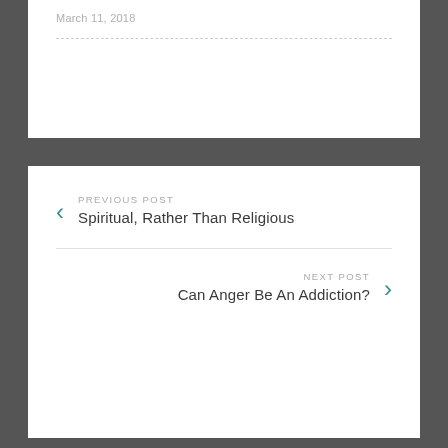March 11, 2018
PREVIOUS POST
Spiritual, Rather Than Religious
NEXT POST
Can Anger Be An Addiction?
Leave a Reply